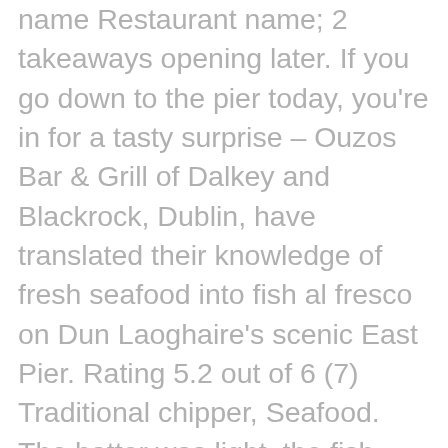name Restaurant name; 2 takeaways opening later. If you go down to the pier today, you're in for a tasty surprise – Ouzos Bar & Grill of Dalkey and Blackrock, Dublin, have translated their knowledge of fresh seafood into fish al fresco on Dun Laoghaire's scenic East Pier. Rating 5.2 out of 6 (7) Traditional chipper, Seafood. The batter was light, the fish was fresh, the chips were perfect! Its businesses include 'Kelly and Coopers' gastropub in Blackrock, Ouzos in Dalkey, and Fish Shack on Dun Laoghaire's East pier. You get two battered fish pieces and a helping of chips, all tucked into a paper recyclable tray. Fish Shack Cafe, Dublin: See 1,414 unbiased reviews of Fish Shack Cafe, rated 4.5 of 5 on Tripadvisor and ranked #79 of 2,735 restaurants in Dublin. See below to follow where we are each day and where to get your next fish and chip fix. more. Map updates are paused. The Fish Shack menu includes dishes such as fried calamari served with sweet chili